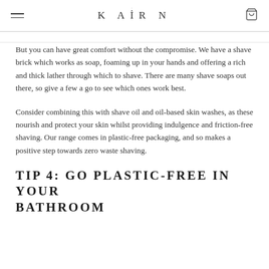KAIRN
But you can have great comfort without the compromise. We have a shave brick which works as soap, foaming up in your hands and offering a rich and thick lather through which to shave. There are many shave soaps out there, so give a few a go to see which ones work best.
Consider combining this with shave oil and oil-based skin washes, as these nourish and protect your skin whilst providing indulgence and friction-free shaving. Our range comes in plastic-free packaging, and so makes a positive step towards zero waste shaving.
TIP 4: GO PLASTIC-FREE IN YOUR BATHROOM